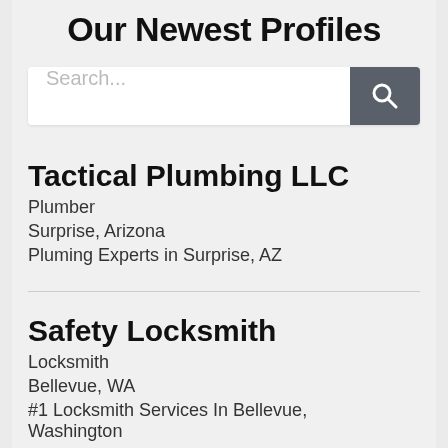Our Newest Profiles
[Figure (screenshot): Search bar with text placeholder 'Search...' and a dark grey search button with magnifying glass icon]
Tactical Plumbing LLC
Plumber
Surprise, Arizona
Pluming Experts in Surprise, AZ
Safety Locksmith
Locksmith
Bellevue, WA
#1 Locksmith Services In Bellevue, Washington